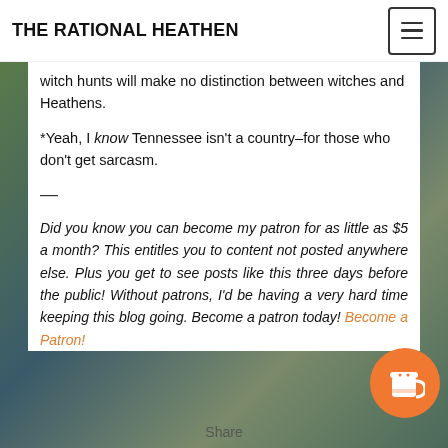THE RATIONAL HEATHEN
witch hunts will make no distinction between witches and Heathens.
*Yeah, I know Tennessee isn't a country–for those who don't get sarcasm.
—
Did you know you can become my patron for as little as $5 a month? This entitles you to content not posted anywhere else. Plus you get to see posts like this three days before the public! Without patrons, I'd be having a very hard time keeping this blog going. Become a patron today! Become a Patron!
Share